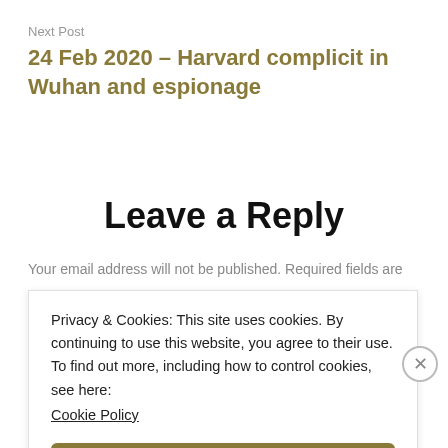Next Post
24 Feb 2020 – Harvard complicit in Wuhan and espionage
Leave a Reply
Your email address will not be published. Required fields are
Privacy & Cookies: This site uses cookies. By continuing to use this website, you agree to their use.
To find out more, including how to control cookies, see here:
Cookie Policy
Close and accept